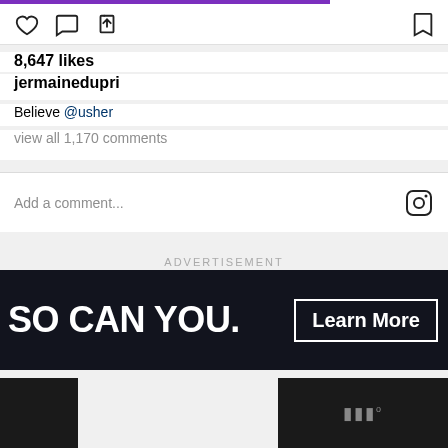[Figure (screenshot): Instagram post interaction bar with purple progress bar, heart/comment/share icons, bookmark icon]
8,647 likes
jermainedupri
Believe @usher
view all 1,170 comments
Add a comment...
ADVERTISEMENT
[Figure (screenshot): Dark advertisement banner with text SO CAN YOU. and a Learn More button]
[Figure (logo): Bottom right dark strip with ttt degree logo mark]